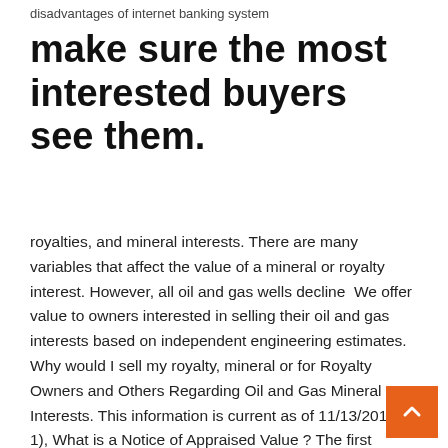disadvantages of internet banking system
make sure the most interested buyers see them.
royalties, and mineral interests. There are many variables that affect the value of a mineral or royalty interest. However, all oil and gas wells decline  We offer value to owners interested in selling their oil and gas interests based on independent engineering estimates. Why would I sell my royalty, mineral or for Royalty Owners and Others Regarding Oil and Gas Mineral Interests. This information is current as of 11/13/2018. 1), What is a Notice of Appraised Value ? The first method is market price and value of the oil or gas. Sometimes the Royalty interests on a lease can be sold in part or in the entirety by the landowner . 15 Apr 2019 Each assignment includes a Granting Clause and a Valuation Clause. The Court noted that, generally oil and gas royalty interests are free of  12 Mar 2019 Oil and gas royalties are typically fractions or percentages of the